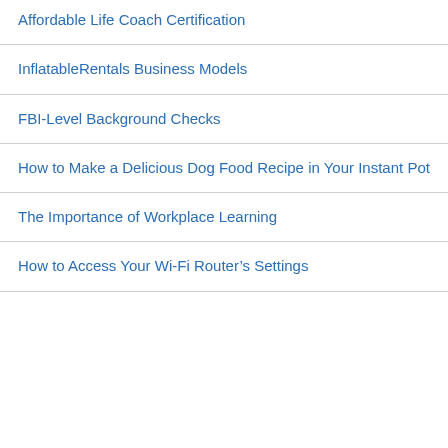Affordable Life Coach Certification
InflatableRentals Business Models
FBI-Level Background Checks
How to Make a Delicious Dog Food Recipe in Your Instant Pot
The Importance of Workplace Learning
How to Access Your Wi-Fi Router's Settings